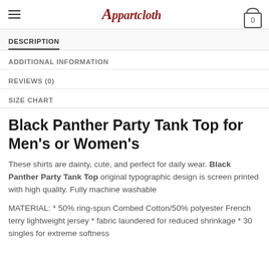Appartcloth — navigation header with hamburger menu and cart
DESCRIPTION
ADDITIONAL INFORMATION
REVIEWS (0)
SIZE CHART
Black Panther Party Tank Top for Men's or Women's
These shirts are dainty, cute, and perfect for daily wear. Black Panther Party Tank Top original typographic design is screen printed with high quality. Fully machine washable
MATERIAL: * 50% ring-spun Combed Cotton/50% polyester French terry lightweight jersey * fabric laundered for reduced shrinkage * 30 singles for extreme softness